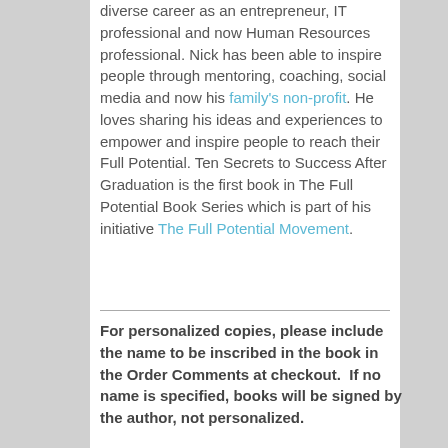diverse career as an entrepreneur, IT professional and now Human Resources professional. Nick has been able to inspire people through mentoring, coaching, social media and now his family's non-profit. He loves sharing his ideas and experiences to empower and inspire people to reach their Full Potential. Ten Secrets to Success After Graduation is the first book in The Full Potential Book Series which is part of his initiative The Full Potential Movement.
For personalized copies, please include the name to be inscribed in the book in the Order Comments at checkout.  If no name is specified, books will be signed by the author, not personalized.